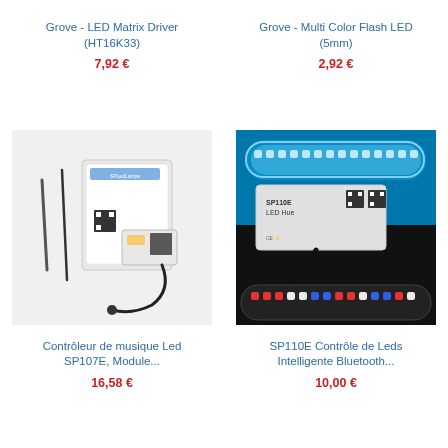Grove - LED Matrix Driver (HT16K33)
7,92 €
Grove - Multi Color Flash LED (5mm)
2,92 €
[Figure (photo): Product photo of Contrôleur de musique Led SP107E module with box and accessories]
[Figure (photo): Product photo of SP110E Contrôle de Leds Intelligente Bluetooth LED strip controller with colorful LED strips]
Contrôleur de musique Led SP107E, Module...
16,58 €
SP110E Contrôle de Leds Intelligente Bluetooth...
10,00 €